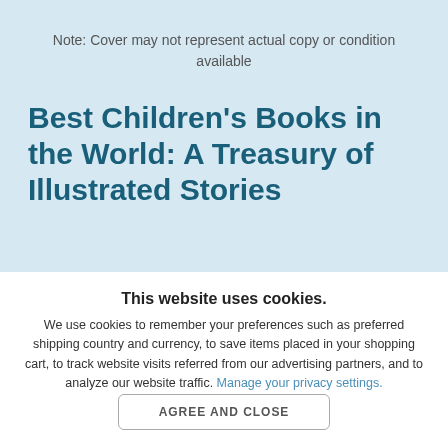Note: Cover may not represent actual copy or condition available
Best Children's Books in the World: A Treasury of Illustrated Stories
This website uses cookies.
We use cookies to remember your preferences such as preferred shipping country and currency, to save items placed in your shopping cart, to track website visits referred from our advertising partners, and to analyze our website traffic. Manage your privacy settings.
AGREE AND CLOSE